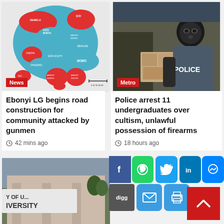[Figure (map): Map of Ebonyi LG areas in Nigeria showing districts like Ishielu, Izzi, Ebonyi North, Ikwo, Onicha, Ebonyi South, Ohaukwu, Afikpo North, Afikpo South, Ivo — red and blue colored regions]
News
[Figure (photo): Police officer in tactical gear wearing a black balaclava, standing next to a police vehicle with POLICE text visible]
Metro
Ebonyi LG begins road construction for community attacked by gunmen
42 mins ago
Police arrest 11 undergraduates over cultism, unlawful possession of firearms
18 hours ago
[Figure (photo): University building sign reading UNIVERSITY OF...]
[Figure (infographic): Social sharing buttons: Facebook, WhatsApp, Twitter, LinkedIn, Messenger, Digg, Email, Print]